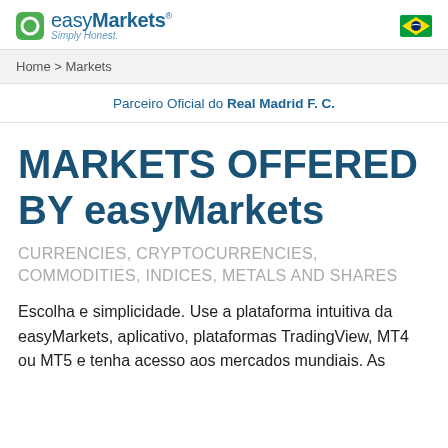easyMarkets Simply Honest.
Home > Markets
Parceiro Oficial do Real Madrid F. C.
MARKETS OFFERED BY easyMarkets
CURRENCIES, CRYPTOCURRENCIES, COMMODITIES, INDICES, METALS AND SHARES
Escolha e simplicidade. Use a plataforma intuitiva da easyMarkets, aplicativo, plataformas TradingView, MT4 ou MT5 e tenha acesso aos mercados mundiais. As